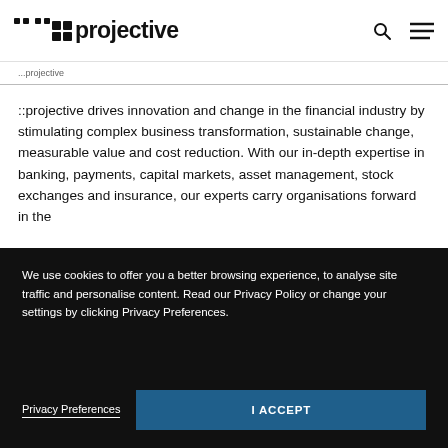::projective
::projective drives innovation and change in the financial industry by stimulating complex business transformation, sustainable change, measurable value and cost reduction. With our in-depth expertise in banking, payments, capital markets, asset management, stock exchanges and insurance, our experts carry organisations forward in the
We use cookies to offer you a better browsing experience, to analyse site traffic and personalise content. Read our Privacy Policy or change your settings by clicking Privacy Preferences.
Privacy Preferences
I ACCEPT